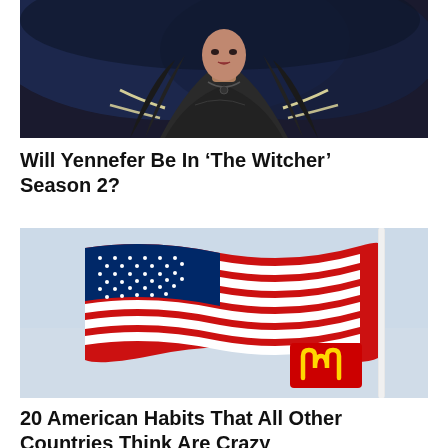[Figure (photo): Partial photo of a woman with dark hair, wearing dark clothing with glowing accents, likely a character from a fantasy TV show]
Will Yennefer Be In ‘The Witcher’ Season 2?
[Figure (photo): American flag waving in a light blue sky, with a McDonald's logo visible in the lower corner of the flag]
20 American Habits That All Other Countries Think Are Crazy